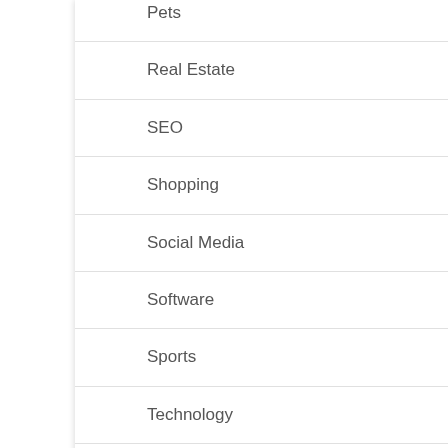Pets
Real Estate
SEO
Shopping
Social Media
Software
Sports
Technology
Travel
Uncategorized